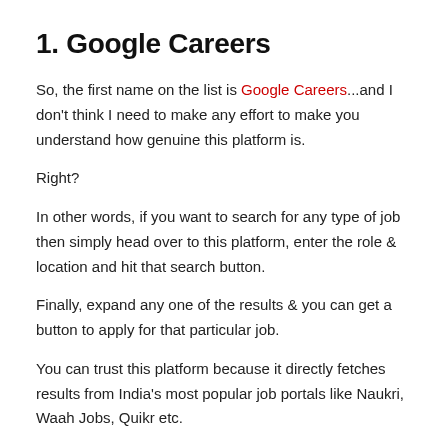1. Google Careers
So, the first name on the list is Google Careers...and I don't think I need to make any effort to make you understand how genuine this platform is.
Right?
In other words, if you want to search for any type of job then simply head over to this platform, enter the role & location and hit that search button.
Finally, expand any one of the results & you can get a button to apply for that particular job.
You can trust this platform because it directly fetches results from India's most popular job portals like Naukri, Waah Jobs, Quikr etc.
2. LinkedIn Jobs